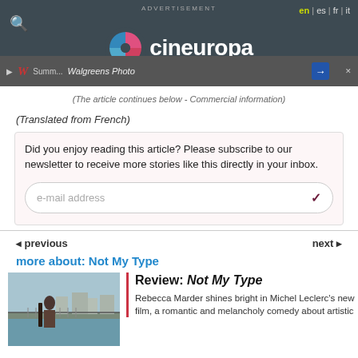cineuropa
(The article continues below - Commercial information)
(Translated from French)
Did you enjoy reading this article? Please subscribe to our newsletter to receive more stories like this directly in your inbox.
◄ previous   next ►
more about: Not My Type
[Figure (photo): Woman standing on a bridge with a city river view behind her, carrying what appears to be a music case]
Review: Not My Type
Rebecca Marder shines bright in Michel Leclerc's new film, a romantic and melancholy comedy about artistic